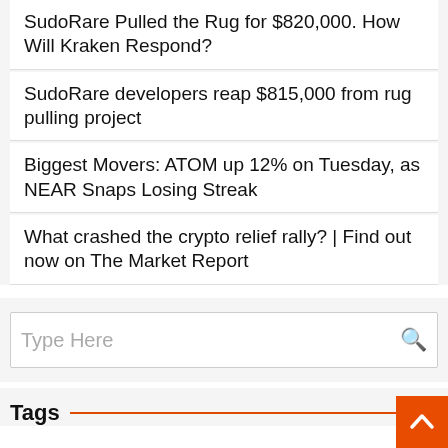SudoRare Pulled the Rug for $820,000. How Will Kraken Respond?
SudoRare developers reap $815,000 from rug pulling project
Biggest Movers: ATOM up 12% on Tuesday, as NEAR Snaps Losing Streak
What crashed the crypto relief rally? | Find out now on The Market Report
Type Here
Tags